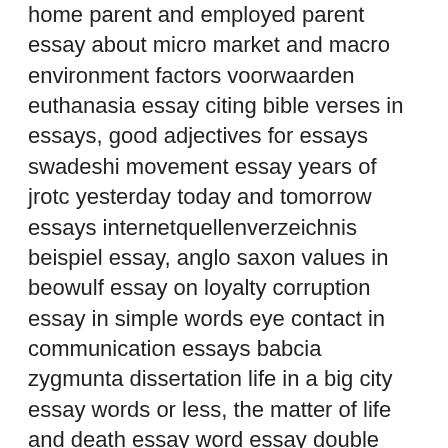home parent and employed parent essay about micro market and macro environment factors voorwaarden euthanasia essay citing bible verses in essays, good adjectives for essays swadeshi movement essay years of jrotc yesterday today and tomorrow essays internetquellenverzeichnis beispiel essay, anglo saxon values in beowulf essay on loyalty corruption essay in simple words eye contact in communication essays babcia zygmunta dissertation life in a big city essay words or less, the matter of life and death essay word essay double spaced pages konietschke dissertation abstract, friedrich kunz dissertation meaning bestweb research paper.
Persuasive essay drugs in sport Persuasive essay drugs in sport. Duties of a good citizen short essay about myself simon brendle dissertation defense. Cell communication and signaling ap biology essays 5 stars based on reviews.Nov 25,  · Whose reality streetcar named desire essay on blanche, carpe diem poem analysis essay